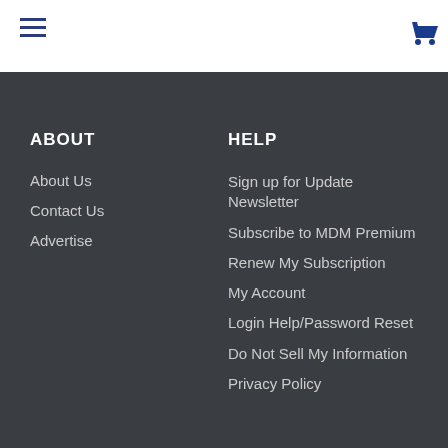≡ [hamburger menu] [cart icon]
Podcasts
ABOUT
HELP
About Us
Contact Us
Advertise
Sign up for Update Newsletter
Subscribe to MDM Premium
Renew My Subscription
My Account
Login Help/Password Reset
Do Not Sell My Information
Privacy Policy